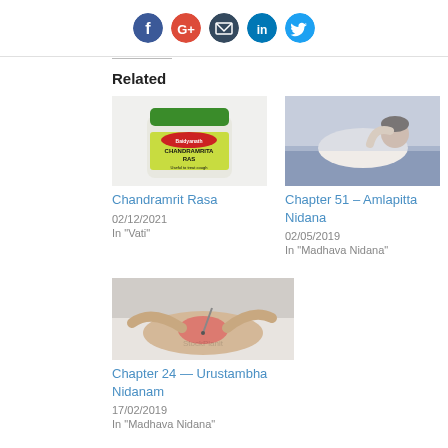[Figure (other): Social media share icons (Facebook, Google+, Email, LinkedIn, Twitter) as colored circular buttons]
Related
[Figure (photo): Baidyanath Chandramrita Ras product jar with green label]
Chandramrit Rasa
02/12/2021
In "Vati"
[Figure (photo): Woman lying on couch holding stomach, appearing to be in pain]
Chapter 51 – Amlapitta Nidana
02/05/2019
In "Madhava Nidana"
[Figure (photo): Medical procedure on knee with acupuncture or injection, redness visible]
Chapter 24 — Urustambha Nidanam
17/02/2019
In "Madhava Nidana"